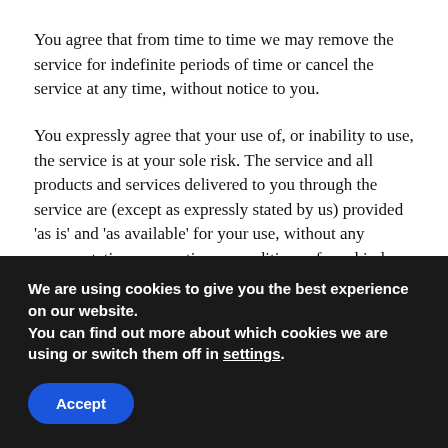You agree that from time to time we may remove the service for indefinite periods of time or cancel the service at any time, without notice to you.
You expressly agree that your use of, or inability to use, the service is at your sole risk. The service and all products and services delivered to you through the service are (except as expressly stated by us) provided 'as is' and 'as available' for your use, without any representation, warranties or conditions of any kind, either express or implied, including all implied warranties or conditions of merchantability, merchantable quality, fitness for a particular purpose, durability, title, and non-infringement.
We are using cookies to give you the best experience on our website.
You can find out more about which cookies we are using or switch them off in settings.
Accept